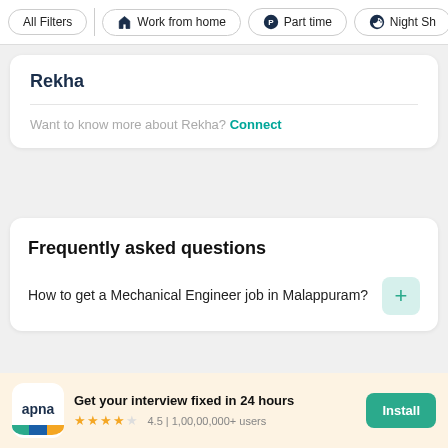All Filters | Work from home | Part time | Night Sh
Rekha
Want to know more about Rekha? Connect
Frequently asked questions
How to get a Mechanical Engineer job in Malappuram?
Get your interview fixed in 24 hours 4.5 | 1,00,00,000+ users Install